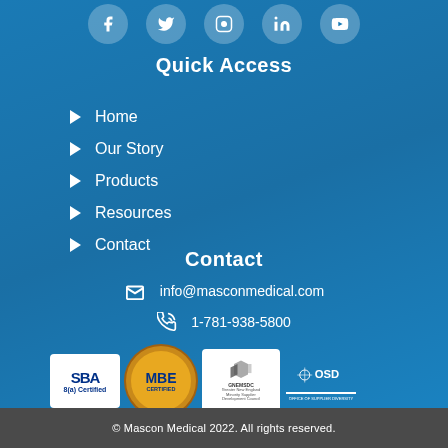[Figure (other): Social media icons row: Facebook, Twitter, Instagram, LinkedIn, YouTube — white icons on semi-transparent circular backgrounds]
Quick Access
Home
Our Story
Products
Resources
Contact
Contact
info@masconmedical.com
1-781-938-5800
[Figure (logo): Certification logos: SBA 8(a) Certified, MBE Certified, GNEMSDC Greater New England Minority Supplier Development Council, OSD]
© Mascon Medical 2022. All rights reserved.